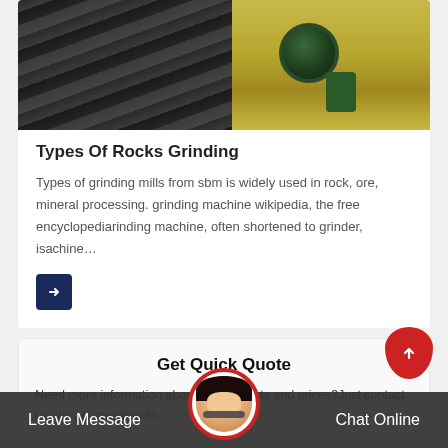[Figure (photo): Industrial machinery photo showing conveyor belts and a green electric motor on yellow equipment background]
Types Of Rocks Grinding
Types of grinding mills from sbm is widely used in rock, ore, mineral processing. grinding machine wikipedia, the free encyclopediarinding machine, often shortened to grinder, isachine…
[Figure (other): Arrow button pointing right, dark navy background]
Get Quick Quote
Need more information about our products and prices?Just contact us, we are awaiting fo…
Leave Message   Chat Online